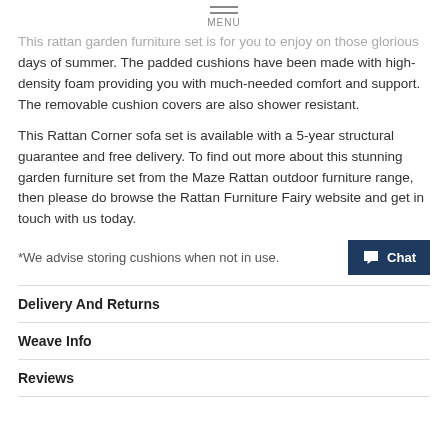MENU
This rattan garden furniture set is for you to enjoy on those glorious days of summer. The padded cushions have been made with high-density foam providing you with much-needed comfort and support. The removable cushion covers are also shower resistant.
This Rattan Corner sofa set is available with a 5-year structural guarantee and free delivery. To find out more about this stunning garden furniture set from the Maze Rattan outdoor furniture range, then please do browse the Rattan Furniture Fairy website and get in touch with us today.
*We advise storing cushions when not in use.
Delivery And Returns
Weave Info
Reviews